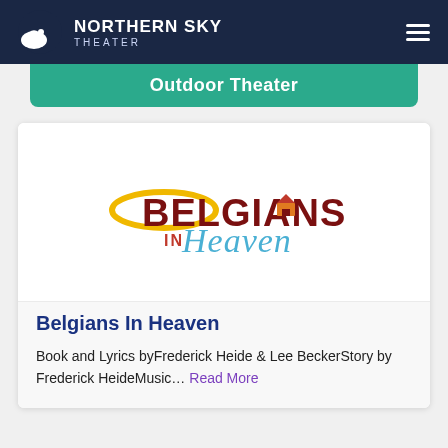NORTHERN SKY THEATER
Outdoor Theater
[Figure (logo): Belgians In Heaven show logo — stylized text with gold ring, dark red bold BELGIANS, smaller IN text, and blue cursive Heaven]
Belgians In Heaven
Book and Lyrics byFrederick Heide & Lee BeckerStory by Frederick HeideMusic… Read More